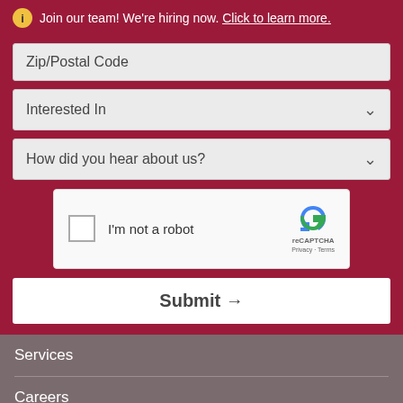Join our team! We're hiring now. Click to learn more.
Zip/Postal Code
Interested In
How did you hear about us?
[Figure (other): reCAPTCHA widget with checkbox labeled 'I'm not a robot' and reCAPTCHA logo with Privacy and Terms links]
Submit →
Services
Careers
About Us